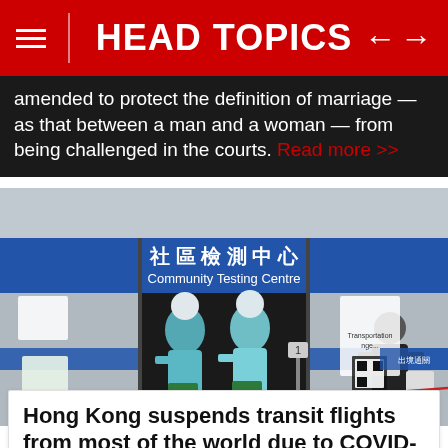HEAD TOPICS
amended to protect the definition of marriage — as that between a man and a woman — from being challenged in the courts. Read more >>
[Figure (photo): People in full PPE protective suits standing outside a Community Testing Centre (社區檢測中心) in Hong Kong, with a visitor approaching from the right.]
Hong Kong suspends transit flights from most of the world due to COVID-